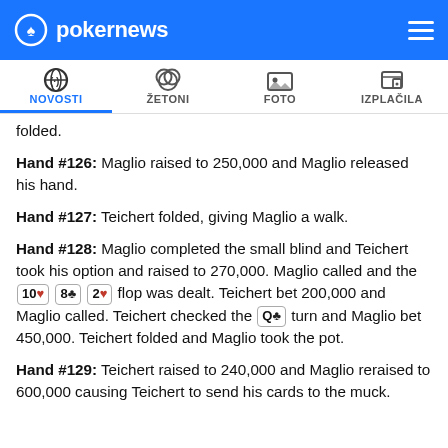pokernews — navigation bar with NOVOSTI, ŽETONI, FOTO, IZPLAČILA tabs
folded.
Hand #126: Maglio raised to 250,000 and Maglio released his hand.
Hand #127: Teichert folded, giving Maglio a walk.
Hand #128: Maglio completed the small blind and Teichert took his option and raised to 270,000. Maglio called and the 10♥ 8♣ 2♥ flop was dealt. Teichert bet 200,000 and Maglio called. Teichert checked the Q♣ turn and Maglio bet 450,000. Teichert folded and Maglio took the pot.
Hand #129: Teichert raised to 240,000 and Maglio reraised to 600,000 causing Teichert to send his cards to the muck.